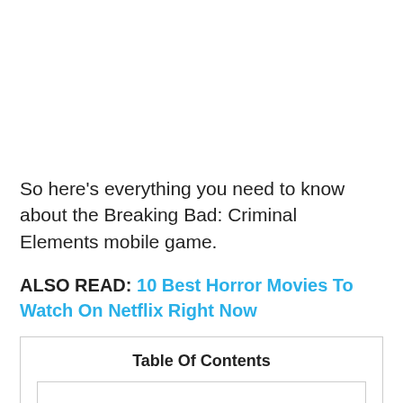So here's everything you need to know about the Breaking Bad: Criminal Elements mobile game.
ALSO READ: 10 Best Horror Movies To Watch On Netflix Right Now
| Table Of Contents |
| --- |